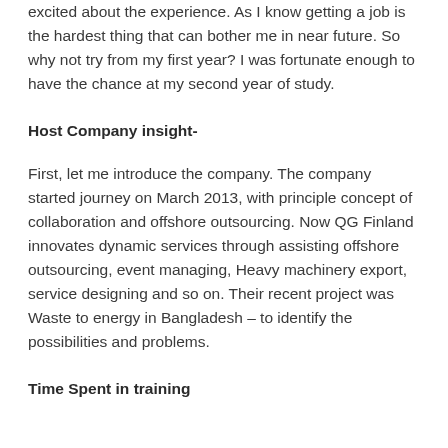excited about the experience. As I know getting a job is the hardest thing that can bother me in near future. So why not try from my first year? I was fortunate enough to have the chance at my second year of study.
Host Company insight-
First, let me introduce the company. The company started journey on March 2013, with principle concept of collaboration and offshore outsourcing. Now QG Finland innovates dynamic services through assisting offshore outsourcing, event managing, Heavy machinery export, service designing and so on. Their recent project was Waste to energy in Bangladesh – to identify the possibilities and problems.
Time Spent in training